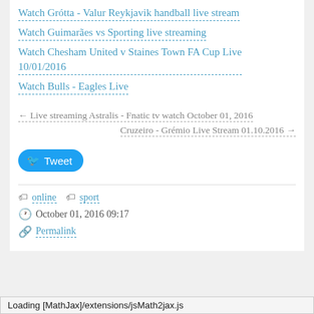Watch Grótta - Valur Reykjavik handball live stream
Watch Guimarães vs Sporting live streaming
Watch Chesham United v Staines Town FA Cup Live 10/01/2016
Watch Bulls - Eagles Live
← Live streaming Astralis - Fnatic tv watch October 01, 2016
Cruzeiro - Grémio Live Stream 01.10.2016 →
[Figure (other): Twitter Tweet button]
online  sport
October 01, 2016 09:17
Permalink
Loading [MathJax]/extensions/jsMath2jax.js